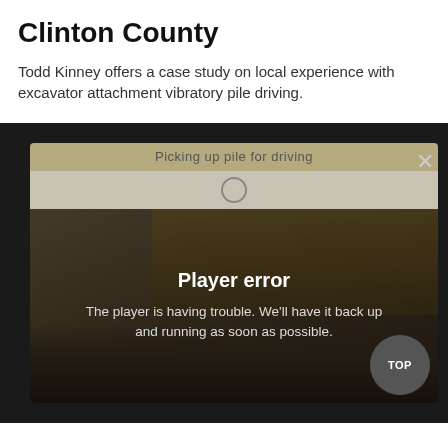Clinton County
Todd Kinney offers a case study on local experience with excavator attachment vibratory pile driving.
[Figure (screenshot): Video player showing a construction scene with an excavator attachment doing vibratory pile driving. The player displays a 'Player error' message: 'The player is having trouble. We'll have it back up and running as soon as possible.' A 'Picking up pile for driving' title bar is shown at the top of the player. A 'TOP' button appears at the bottom right of the video container.]